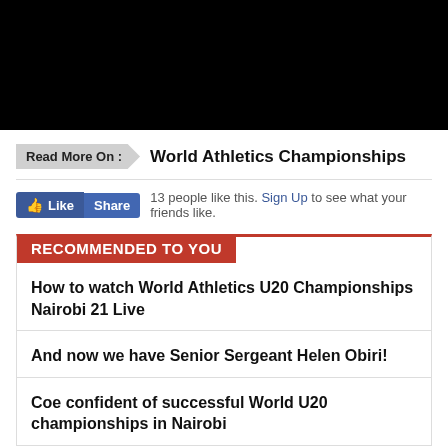[Figure (photo): Black rectangle image at top of page]
Read More On :   World Athletics Championships
13 people like this. Sign Up to see what your friends like.
RECOMMENDED TO YOU
How to watch World Athletics U20 Championships Nairobi 21 Live
And now we have Senior Sergeant Helen Obiri!
Coe confident of successful World U20 championships in Nairobi